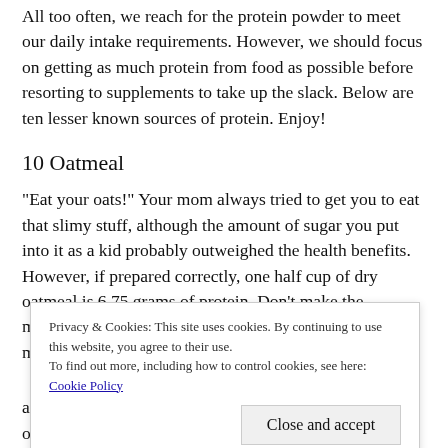All too often, we reach for the protein powder to meet our daily intake requirements. However, we should focus on getting as much protein from food as possible before resorting to supplements to take up the slack. Below are ten lesser known sources of protein. Enjoy!
10 Oatmeal
"Eat your oats!" Your mom always tried to get you to eat that slimy stuff, although the amount of sugar you put into it as a kid probably outweighed the health benefits. However, if prepared correctly, one half cup of dry oatmeal is 6.75 grams of protein. Don't make the mistakes you made as a kid by avoiding adding sugar as much as possible. To make it more [continues]
Privacy & Cookies: This site uses cookies. By continuing to use this website, you agree to their use.
To find out more, including how to control cookies, see here: Cookie Policy
Close and accept
alternative source, like honey or fruit). Adding raw oatmeal to